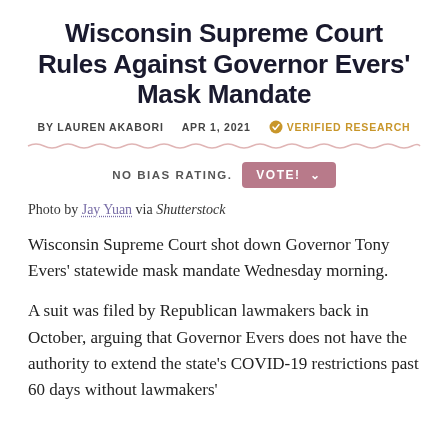Wisconsin Supreme Court Rules Against Governor Evers' Mask Mandate
BY LAUREN AKABORI   APR 1, 2021   VERIFIED RESEARCH
NO BIAS RATING.  VOTE!
Photo by Jay Yuan via Shutterstock
Wisconsin Supreme Court shot down Governor Tony Evers' statewide mask mandate Wednesday morning.
A suit was filed by Republican lawmakers back in October, arguing that Governor Evers does not have the authority to extend the state's COVID-19 restrictions past 60 days without lawmakers'